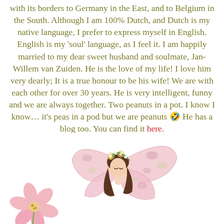with its borders to Germany in the East, and to Belgium in the South. Although I am 100% Dutch, and Dutch is my native language, I prefer to express myself in English. English is my 'soul' language, as I feel it. I am happily married to my dear sweet husband and soulmate, Jan-Willem van Zuiden. He is the love of my life! I love him very dearly; It is a true honour to be his wife! We are with each other for over 30 years. He is very intelligent, funny and we are always together. Two peanuts in a pot. I know I know… it's peas in a pod but we are peanuts 🤣 He has a blog too. You can find it here.
[Figure (illustration): Illustration of a fairy girl with butterfly wings wearing a floral crown, bending forward, with pink flowers around her]